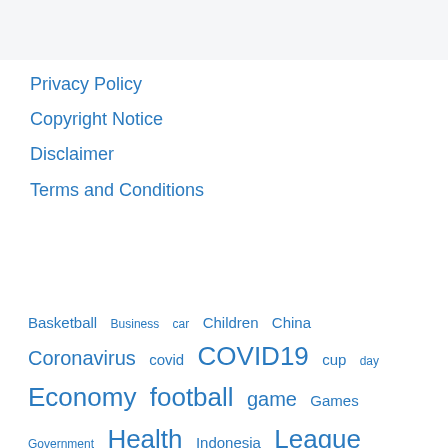Privacy Policy
Copyright Notice
Disclaimer
Terms and Conditions
Basketball  Business  car  Children  China  Coronavirus  covid  COVID19  cup  day  Economy  football  game  Games  Government  Health  Indonesia  League  Life  man  market  million  national  News